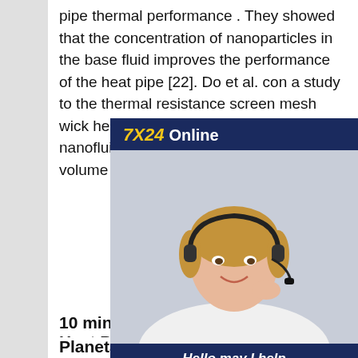pipe thermal performance . They showed that the concentration of nanoparticles in the base fluid improves the performance of the heat pipe [22]. Do et al. con a study to the thermal resistance screen mesh wick heat pipes usin Al2O3-water nanofluid which yiel results that the volume 11 mins
[Figure (photo): Online customer service advertisement showing a woman with a headset, with text '7X24 Online', 'Hello, may I help you?' and a 'Get Latest Price' button.]
10 mins Hybrid Wick Heat Pipes
Planetary Surface and High
Hybrid Heat Pipes - Concept TFAWS 2015 August 3-7, 2015 Silver Spring, MD 7 ISO9001:2008 & AS9100C Certified Heat pipe with a hybrid wick that contains screen mesh , metal foam or sintered evaporator wicks for the evaporator region. Can sustain high heat fluxes. The